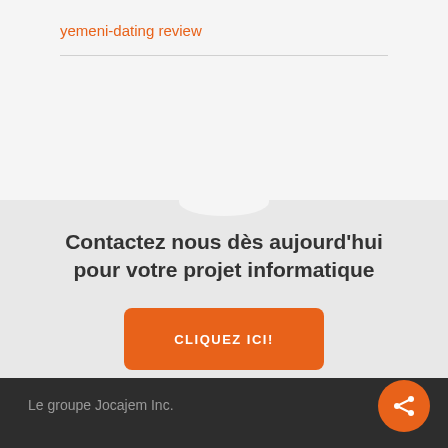yemeni-dating review
Contactez nous dès aujourd'hui pour votre projet informatique
CLIQUEZ ICI!
Le groupe Jocajem Inc.